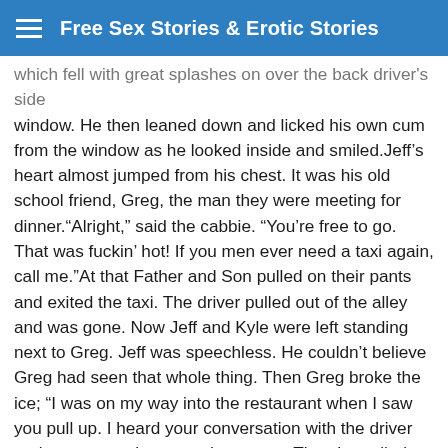Free Sex Stories & Erotic Stories
which fell with great splashes on over the back driver's side window. He then leaned down and licked his own cum from the window as he looked inside and smiled.Jeff’s heart almost jumped from his chest. It was his old school friend, Greg, the man they were meeting for dinner.“Alright,” said the cabbie. “You’re free to go. That was fuckin’ hot! If you men ever need a taxi again, call me.”At that Father and Son pulled on their pants and exited the taxi. The driver pulled out of the alley and was gone. Now Jeff and Kyle were left standing next to Greg. Jeff was speechless. He couldn’t believe Greg had seen that whole thing. Then Greg broke the ice; “I was on my way into the restaurant when I saw you pull up. I heard your conversation with the driver and was gonna loan you the money. Then he pulled into the alley and well, once I saw what he was making you guys do it turned me on. So, I watched. I know he made you do it. Don’t feel uncomfortable. It’ll be our little secret. Just four guys gettin’ off.”This seemed to put everyone at ease as they headed for the restaurant. Though truthfully each man knew what it was. Each man including Greg knew that Father and Son